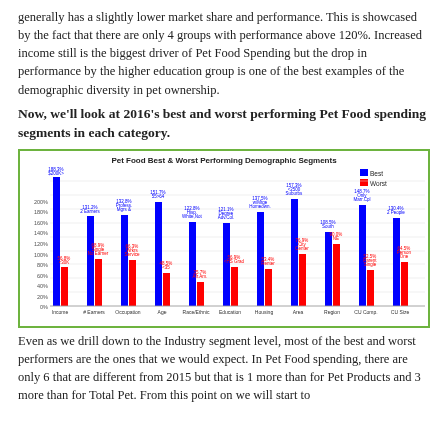generally has a slightly lower market share and performance. This is showcased by the fact that there are only 4 groups with performance above 120%. Increased income still is the biggest driver of Pet Food Spending but the drop in performance by the higher education group is one of the best examples of the demographic diversity in pet ownership.
Now, we'll look at 2016's best and worst performing Pet Food spending segments in each category.
[Figure (grouped-bar-chart): Pet Food Best & Worst Performing Demographic Segments]
Even as we drill down to the Industry segment level, most of the best and worst performers are the ones that we would expect. In Pet Food spending, there are only 6 that are different from 2015 but that is 1 more than for Pet Products and 3 more than for Total Pet. From this point on we will start to